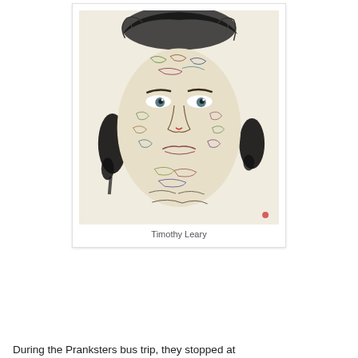[Figure (illustration): Detailed pen and ink drawing of Timothy Leary's portrait face, with intricate swirling colorful patterns covering the face, wild gray hair, and black ink splatters on either side of the head.]
Timothy Leary
During the Pranksters bus trip, they stopped at